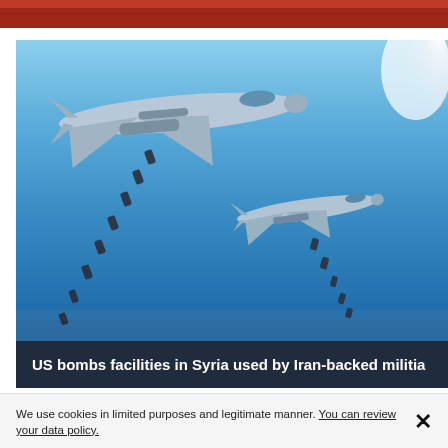[Figure (photo): Red-tinged partial image strip at top of page, appears to be top edge of another image]
[Figure (photo): Two military jets (Russian Su-24 bombers) dropping bombs against a blue sky with white smoke/cloud on the right side. Multiple bombs visible falling in diagonal lines below each aircraft.]
US bombs facilities in Syria used by Iran-backed militia
We use cookies in limited purposes and legitimate manner. You can review your data policy.